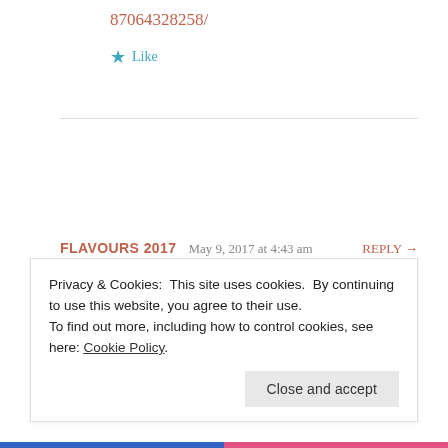87064328258/
★ Like
FLAVOURS 2017   May 9, 2017 at 4:43 am   REPLY →
awesome—
Privacy & Cookies: This site uses cookies. By continuing to use this website, you agree to their use.
To find out more, including how to control cookies, see here: Cookie Policy
Close and accept